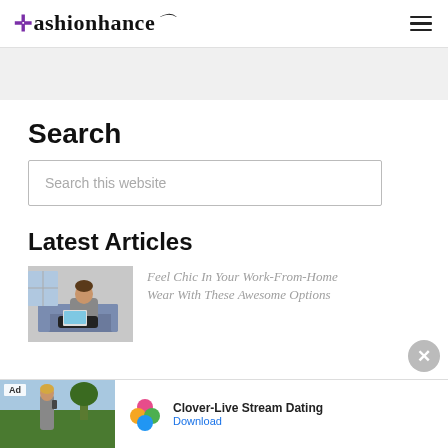Fashionhance
Search
Search this website
Latest Articles
[Figure (photo): Woman sitting on couch using laptop]
Feel Chic In Your Work-From-Home Wear With These Awesome Options
[Figure (advertisement): Ad banner: Clover-Live Stream Dating with Download link]